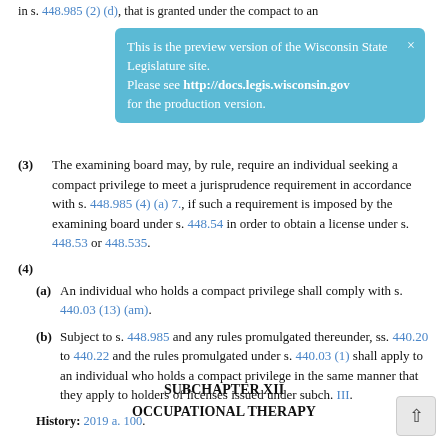in s. 448.985 (2) (d), that is granted under the compact to an
[Figure (screenshot): Blue tooltip banner: 'This is the preview version of the Wisconsin State Legislature site. Please see http://docs.legis.wisconsin.gov for the production version.' with an X close button.]
(3) The examining board may, by rule, require an individual seeking a compact privilege to meet a jurisprudence requirement in accordance with s. 448.985 (4) (a) 7., if such a requirement is imposed by the examining board under s. 448.54 in order to obtain a license under s. 448.53 or 448.535.
(4)
(a) An individual who holds a compact privilege shall comply with s. 440.03 (13) (am).
(b) Subject to s. 448.985 and any rules promulgated thereunder, ss. 440.20 to 440.22 and the rules promulgated under s. 440.03 (1) shall apply to an individual who holds a compact privilege in the same manner that they apply to holders of licenses issued under subch. III.
History: 2019 a. 100.
SUBCHAPTER XII
OCCUPATIONAL THERAPY